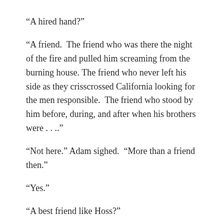“A hired hand?”
“A friend.  The friend who was there the night of the fire and pulled him screaming from the burning house.  The friend who never left his side as they crisscrossed California looking for the men responsible.  The friend who stood by him before, during, and after when his brothers were . . ..”
“Not here.” Adam sighed.  “More than a friend then.”
“Yes.”
“A best friend like Hoss?”
“The bond is similar, but there will never be another Hoss.”  Ben gazed into the fire wondering what he